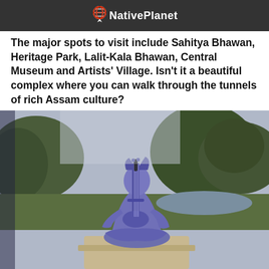NativePlanet
The major spots to visit include Sahitya Bhawan, Heritage Park, Lalit-Kala Bhawan, Central Museum and Artists' Village. Isn't it a beautiful complex where you can walk through the tunnels of rich Assam culture?
[Figure (photo): Blue/purple statue of a seated musician playing a string instrument (sitar/veena), placed on a stone pedestal in an outdoor park setting with trees and greenery in the background.]